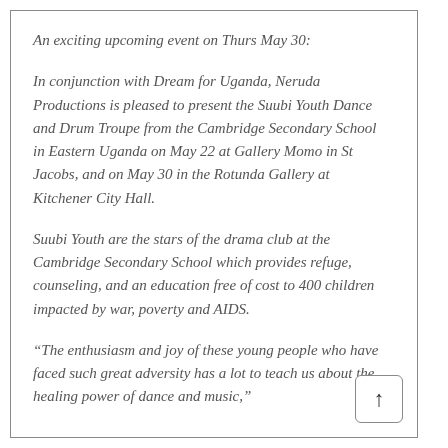An exciting upcoming event on Thurs May 30:
In conjunction with Dream for Uganda, Neruda Productions is pleased to present the Suubi Youth Dance and Drum Troupe from the Cambridge Secondary School in Eastern Uganda on May 22 at Gallery Momo in St Jacobs, and on May 30 in the Rotunda Gallery at Kitchener City Hall.
Suubi Youth are the stars of the drama club at the Cambridge Secondary School which provides refuge, counseling, and an education free of cost to 400 children impacted by war, poverty and AIDS.
“The enthusiasm and joy of these young people who have faced such great adversity has a lot to teach us about the healing power of dance and music,”